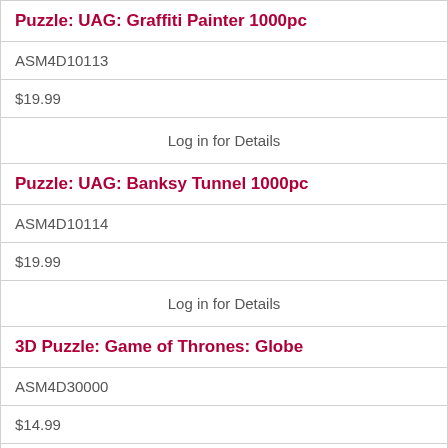| Puzzle: UAG: Graffiti Painter 1000pc |
| ASM4D10113 |
| $19.99 |
| Log in for Details |
| Puzzle: UAG: Banksy Tunnel 1000pc |
| ASM4D10114 |
| $19.99 |
| Log in for Details |
| 3D Puzzle: Game of Thrones: Globe |
| ASM4D30000 |
| $14.99 |
| Log in for Details |